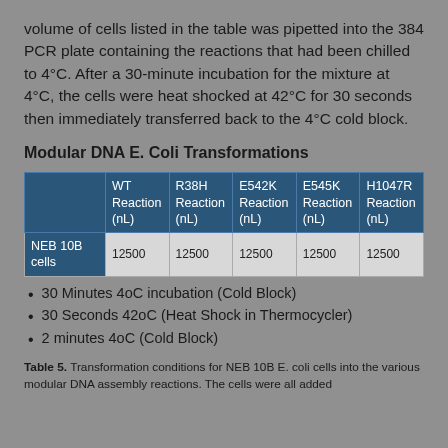volume of cells listed in the table was pipetted into the 384 PCR plate containing the reactions that had been chilled to 4°C. After a 30-minute incubation for the mixture at 4°C, the cells were heat shocked at 42°C for 30 seconds then immediately transferred back to the 4°C cold block.
Modular DNA E. Coli Transformations
|  | WT Reaction (nL) | R38H Reaction (nL) | E542K Reaction (nL) | E545K Reaction (nL) | H1047R Reaction (nL) |
| --- | --- | --- | --- | --- | --- |
| NEB 10B cells | 12500 | 12500 | 12500 | 12500 | 12500 |
30 Minutes 4oC incubation (Cold Block)
30 Seconds 42oC (Heat Shock in Thermocycler)
2 minutes 4oC (Cold Block)
Table 5. Transformation conditions for NEB 10B E. coli cells into the various modular DNA assembly reactions. The cells were all added